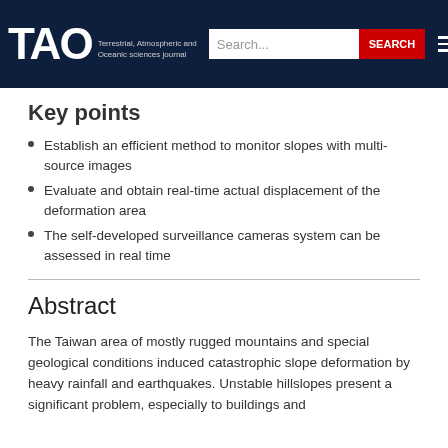TAO Terrestrial, Atmospheric and Oceanic sciences journal — Search bar and navigation
Key points
Establish an efficient method to monitor slopes with multi-source images
Evaluate and obtain real-time actual displacement of the deformation area
The self-developed surveillance cameras system can be assessed in real time
Abstract
The Taiwan area of mostly rugged mountains and special geological conditions induced catastrophic slope deformation by heavy rainfall and earthquakes. Unstable hillslopes present a significant problem, especially to buildings and